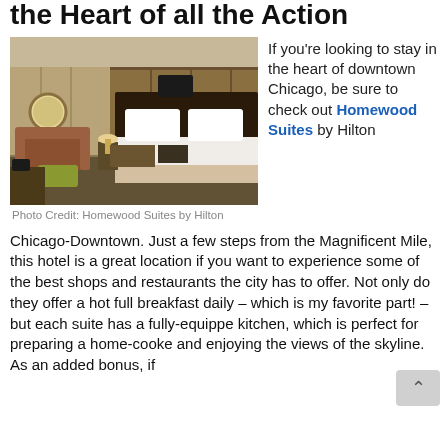the Heart of all the Action
[Figure (photo): Hotel room interior showing a king bed with white linens, brown leather sofa, ottoman, and warm wood-paneled walls]
Photo Credit: Homewood Suites by Hilton
If you're looking to stay in the heart of downtown Chicago, be sure to check out Homewood Suites by Hilton Chicago-Downtown. Just a few steps from the Magnificent Mile, this hotel is a great location if you want to experience some of the best shops and restaurants the city has to offer. Not only do they offer a hot full breakfast daily – which is my favorite part! – but each suite has a fully-equipped kitchen, which is perfect for preparing a home-cooked and enjoying the views of the skyline. As an added bonus, if